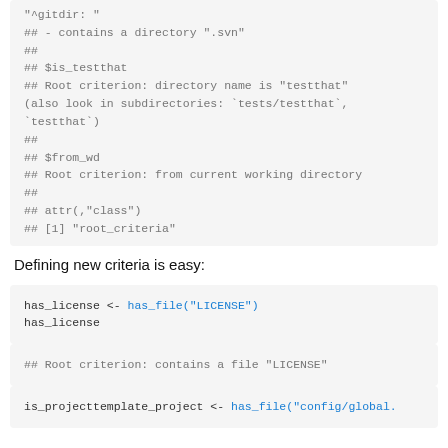"^gitdir: "
## - contains a directory ".svn"
##
## $is_testthat
## Root criterion: directory name is "testthat"
(also look in subdirectories: `tests/testthat`,
`testthat`)
##
## $from_wd
## Root criterion: from current working directory
##
## attr(,"class")
## [1] "root_criteria"
Defining new criteria is easy:
has_license <- has_file("LICENSE")
has_license
## Root criterion: contains a file "LICENSE"
is_projecttemplate_project <- has_file("config/global.